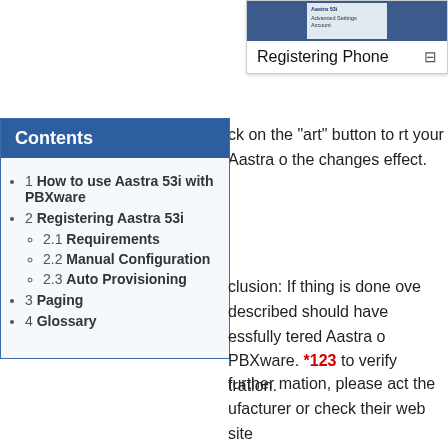[Figure (screenshot): Thumbnail showing Registering Phone with a screenshot preview and monitor icon]
ck on the art" button to rt your Aastra o the changes effect.
| Contents |
| --- |
| 1 How to use Aastra 53i with PBXware |
| 2 Registering Aastra 53i |
| 2.1 Requirements |
| 2.2 Manual Configuration |
| 2.3 Auto Provisioning |
| 3 Paging |
| 4 Glossary |
clusion: If thing is done ove described should have essfully tered Aastra o PBXware. *123 to verify tration.
further mation, please act the ufacturer or check their web site